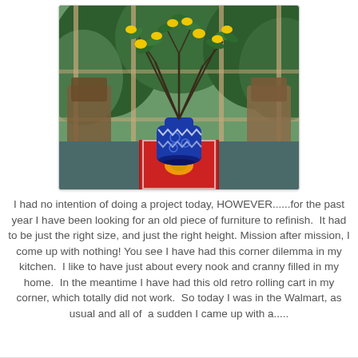[Figure (photo): A blue and white decorative vase filled with branches bearing yellow lemons and green leaves, sitting on a red decorative table runner on a dark wooden dining table. Wooden chairs and green trees visible through windows in the background.]
I had no intention of doing a project today, HOWEVER......for the past year I have been looking for an old piece of furniture to refinish.  It had to be just the right size, and just the right height. Mission after mission, I come up with nothing! You see I have had this corner dilemma in my kitchen.  I like to have just about every nook and cranny filled in my home.  In the meantime I have had this old retro rolling cart in my corner, which totally did not work.  So today I was in the Walmart, as usual and all of  a sudden I came up with a.....